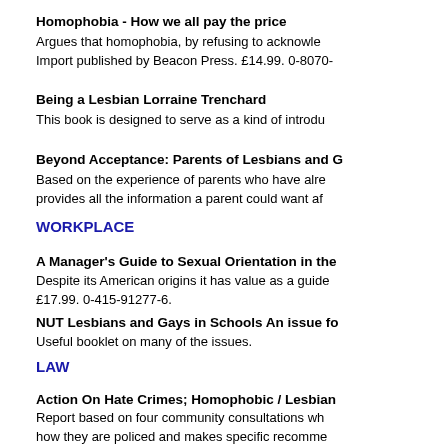Homophobia - How we all pay the price
Argues that homophobia, by refusing to acknowle... Import published by Beacon Press. £14.99. 0-8070-
Being a Lesbian Lorraine Trenchard
This book is designed to serve as a kind of introdu...
Beyond Acceptance: Parents of Lesbians and G...
Based on the experience of parents who have alre... provides all the information a parent could want af...
WORKPLACE
A Manager's Guide to Sexual Orientation in the...
Despite its American origins it has value as a guid... £17.99. 0-415-91277-6.
NUT Lesbians and Gays in Schools An issue fo...
Useful booklet on many of the issues.
LAW
Action On Hate Crimes; Homophobic / Lesbian...
Report based on four community consultations wh... how they are policed and makes specific recomme... communities.
Published by GALOP.
Lesbians' & Gay Men's Experience of Crime &...